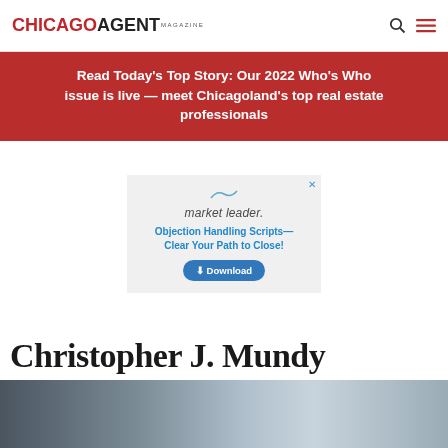CHICAGO AGENT MAGAZINE
Read Today's Top Story: Our 2022 Who's Who issue is live — meet Chicagoland's top real estate professionals
[Figure (advertisement): Market Leader advertisement: Objection Handling Scripts—Clear Your Path to Close! with a Download button]
Christopher J. Mundy
[Figure (photo): Partial photo of Christopher J. Mundy at the bottom of the page]